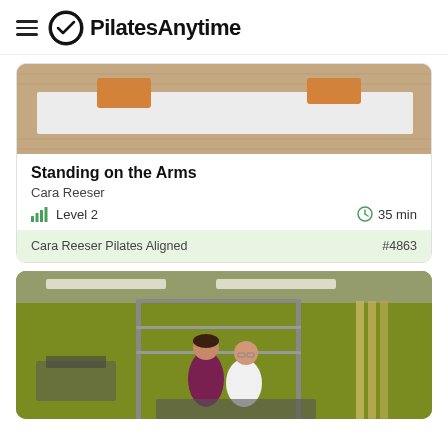PilatesAnytime
[Figure (photo): Top portion of a yoga/Pilates mat with orange foam blocks on a woven surface]
Standing on the Arms
Cara Reeser
Level 2   35 min
Cara Reeser Pilates Aligned   #4863
[Figure (photo): Two women in a Pilates studio with green walls and metal frame equipment; one instructor standing behind a seated student]